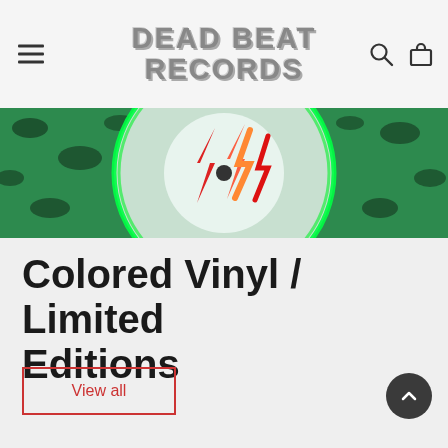Dead Beat Records
[Figure (photo): Close-up banner image of a colored vinyl record with green splatter design, showing the record label center with red and orange lightning bolt designs]
Colored Vinyl / Limited Editions
View all